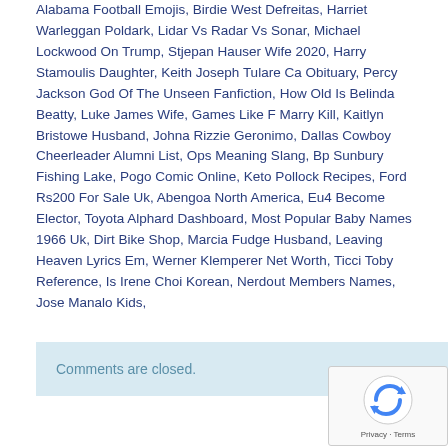Alabama Football Emojis, Birdie West Defreitas, Harriet Warleggan Poldark, Lidar Vs Radar Vs Sonar, Michael Lockwood On Trump, Stjepan Hauser Wife 2020, Harry Stamoulis Daughter, Keith Joseph Tulare Ca Obituary, Percy Jackson God Of The Unseen Fanfiction, How Old Is Belinda Beatty, Luke James Wife, Games Like F Marry Kill, Kaitlyn Bristowe Husband, Johna Rizzie Geronimo, Dallas Cowboy Cheerleader Alumni List, Ops Meaning Slang, Bp Sunbury Fishing Lake, Pogo Comic Online, Keto Pollock Recipes, Ford Rs200 For Sale Uk, Abengoa North America, Eu4 Become Elector, Toyota Alphard Dashboard, Most Popular Baby Names 1966 Uk, Dirt Bike Shop, Marcia Fudge Husband, Leaving Heaven Lyrics Em, Werner Klemperer Net Worth, Ticci Toby Reference, Is Irene Choi Korean, Nerdout Members Names, Jose Manalo Kids,
Comments are closed.